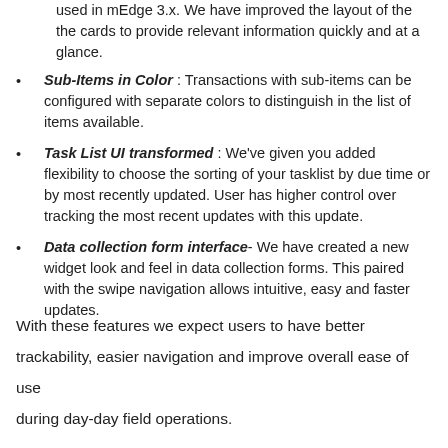used in mEdge 3.x. We have improved the layout of the the cards to provide relevant information quickly and at a glance.
Sub-Items in Color : Transactions with sub-items can be configured with separate colors to distinguish in the list of items available.
Task List UI transformed : We've given you added flexibility to choose the sorting of your tasklist by due time or by most recently updated. User has higher control over tracking the most recent updates with this update.
Data collection form interface- We have created a new widget look and feel in data collection forms. This paired with the swipe navigation allows intuitive, easy and faster updates.
With these features we expect users to have better trackability, easier navigation and improve overall ease of use during day-day field operations.